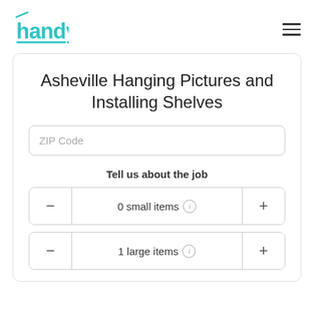handy
Asheville Hanging Pictures and Installing Shelves
ZIP Code
Tell us about the job
0 small items
1 large items